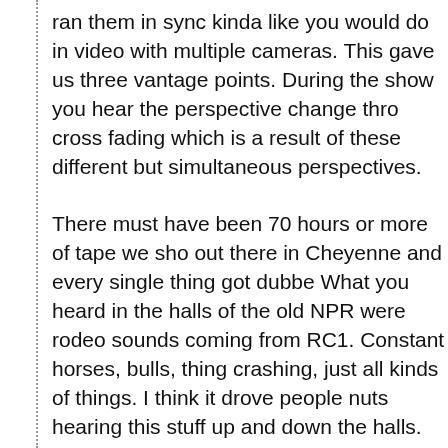ran them in sync kinda like you would do in video with multiple cameras. This gave us three vantage points. During the show you hear the perspective change through cross fading which is a result of these different but simultaneous perspectives.
There must have been 70 hours or more of tape we shot out there in Cheyenne and every single thing got dubbed. What you heard in the halls of the old NPR were rodeo sounds coming from RC1. Constant horses, bulls, things crashing, just all kinds of things. I think it drove people nuts hearing this stuff up and down the halls.
This was the height of my career at NPR. It was a combination of everything... the music recording, the production sound recording, interviews... every single thing that I had ever done for this company all came together.